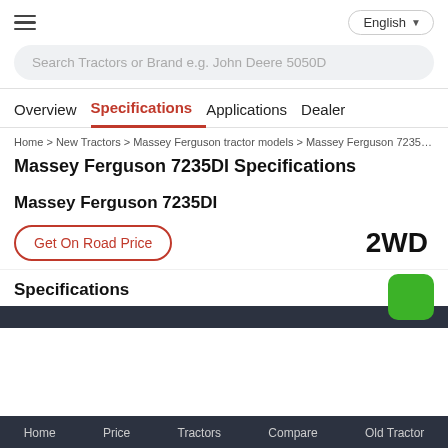English
Search Tractors or Brand e.g. John Deere 5050D
Overview  Specifications  Applications  Dealer
Home > New Tractors > Massey Ferguson tractor models > Massey Ferguson 7235DI details > M
Massey Ferguson 7235DI Specifications
Massey Ferguson 7235DI
Get On Road Price
2WD
Specifications
Home  Price  Tractors  Compare  Old Tractor